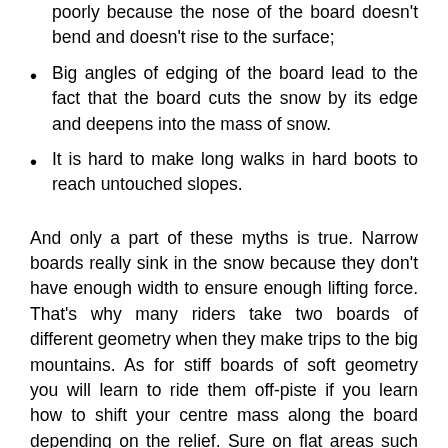poorly because the nose of the board doesn't bend and doesn't rise to the surface;
Big angles of edging of the board lead to the fact that the board cuts the snow by its edge and deepens into the mass of snow.
It is hard to make long walks in hard boots to reach untouched slopes.
And only a part of these myths is true. Narrow boards really sink in the snow because they don't have enough width to ensure enough lifting force. That's why many riders take two boards of different geometry when they make trips to the big mountains. As for stiff boards of soft geometry you will learn to ride them off-piste if you learn how to shift your centre mass along the board depending on the relief. Sure on flat areas such board will sink its nose in the snow but is it really